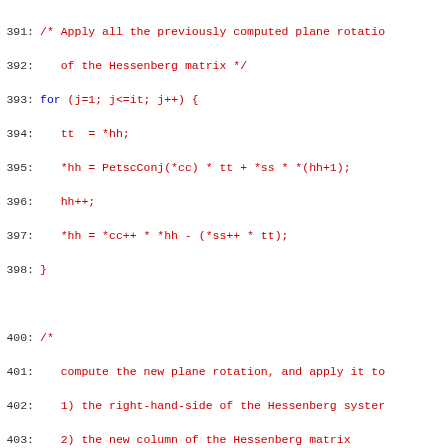Source code listing lines 391-421, C code for GMRES Hessenberg plane rotation application
[Figure (screenshot): Source code listing showing C implementation of GMRES algorithm plane rotation steps, lines 391-421]